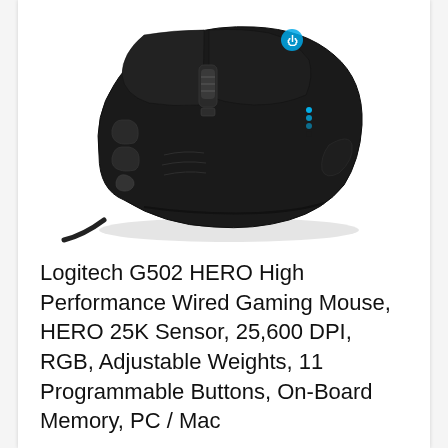[Figure (photo): Logitech G502 HERO wired gaming mouse, black with blue LED accents, angled top-down view showing multiple buttons and cable]
Logitech G502 HERO High Performance Wired Gaming Mouse, HERO 25K Sensor, 25,600 DPI, RGB, Adjustable Weights, 11 Programmable Buttons, On-Board Memory, PC / Mac